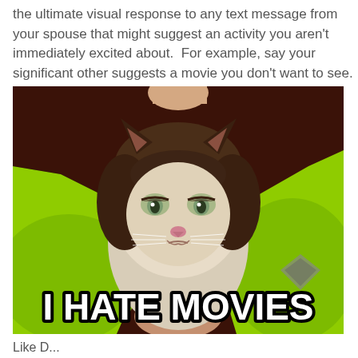the ultimate visual response to any text message from your spouse that might suggest an activity you aren't immediately excited about.  For example, say your significant other suggests a movie you don't want to see. You can send her this:
[Figure (photo): Grumpy Cat meme photo: a flat-faced Siamese/ragdoll cat with a perpetual frown being held by someone in a neon green hoodie. White bold text at the bottom reads 'I HATE MOVIES' with black outline.]
Like D...